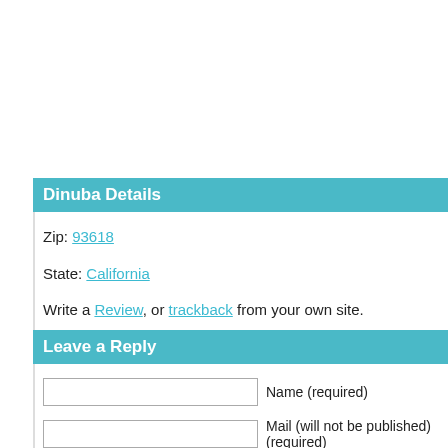Dinuba Details
Zip: 93618
State: California
Write a Review, or trackback from your own site.
Leave a Reply
Name (required)
Mail (will not be published) (required)
Website